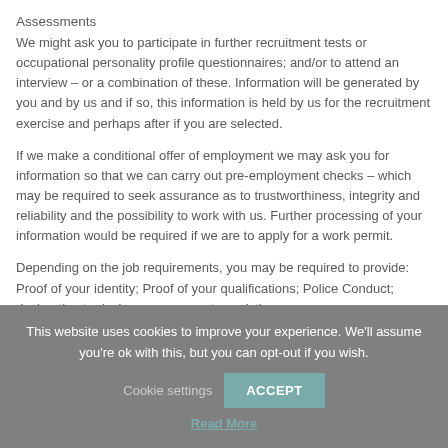Assessments
We might ask you to participate in further recruitment tests or occupational personality profile questionnaires; and/or to attend an interview – or a combination of these. Information will be generated by you and by us and if so, this information is held by us for the recruitment exercise and perhaps after if you are selected.
If we make a conditional offer of employment we may ask you for information so that we can carry out pre-employment checks – which may be required to seek assurance as to trustworthiness, integrity and reliability and the possibility to work with us. Further processing of your information would be required if we are to apply for a work permit.
Depending on the job requirements, you may be required to provide: Proof of your identity; Proof of your qualifications; Police Conduct; declaration to declare any unspent convictions.
This website uses cookies to improve your experience. We'll assume you're ok with this, but you can opt-out if you wish. Cookie settings ACCEPT Read More